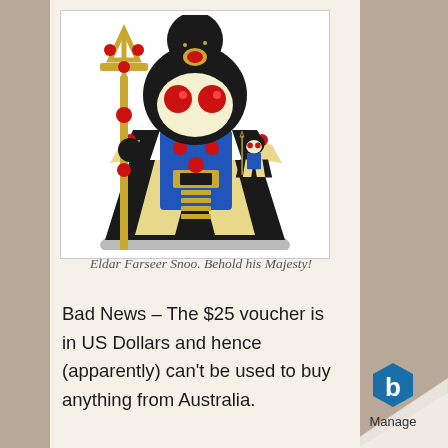[Figure (illustration): Cartoon illustration of Eldar Farseer Snoo character in black robe with gold staff, red gems, blue and gold armor, with a smaller version of the same character to the right.]
Eldar Farseer Snoo. Behold his Majesty!
Bad News – The $25 voucher is in US Dollars and hence (apparently) can't be used to buy anything from Australia.
[Figure (logo): Manage logo badge - blue hexagon shape with white 'b' letter and text 'Manage' below, on a curled paper corner effect.]